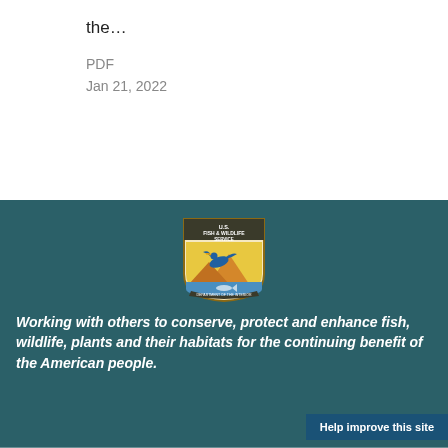the…
PDF
Jan 21, 2022
[Figure (logo): U.S. Fish & Wildlife Service shield logo with blue duck in flight, orange/yellow mountain background, and fish. Text reads 'U.S. Fish & Wildlife Service' and 'Department of the Interior'.]
Working with others to conserve, protect and enhance fish, wildlife, plants and their habitats for the continuing benefit of the American people.
Help improve this site